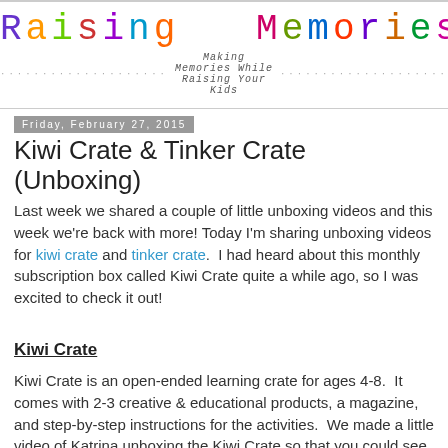Raising Memories — Making Memories While Raising Your Kids
Friday, February 27, 2015
Kiwi Crate & Tinker Crate (Unboxing)
Last week we shared a couple of little unboxing videos and this week we're back with more! Today I'm sharing unboxing videos for kiwi crate and tinker crate.  I had heard about this monthly subscription box called Kiwi Crate quite a while ago, so I was excited to check it out!
Kiwi Crate
Kiwi Crate is an open-ended learning crate for ages 4-8.  It comes with 2-3 creative & educational products, a magazine, and step-by-step instructions for the activities.  We made a little video of Katrina unboxing the Kiwi Crate so that you could see what kinds of things come in each box: